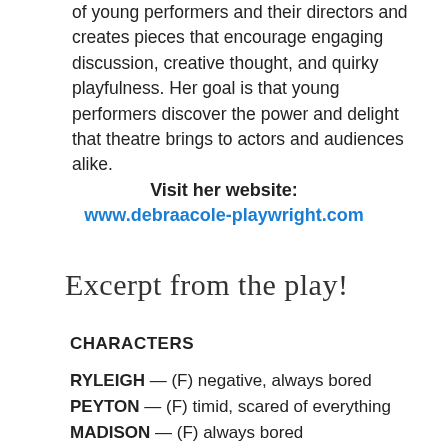of young performers and their directors and creates pieces that encourage engaging discussion, creative thought, and quirky playfulness. Her goal is that young performers discover the power and delight that theatre brings to actors and audiences alike.
Visit her website:
www.debraacole-playwright.com
Excerpt from the play!
CHARACTERS
RYLEIGH — (F) negative, always bored
PEYTON — (F) timid, scared of everything
MADISON — (F) always bored
ABBY— (F) expects the best, always creates fun